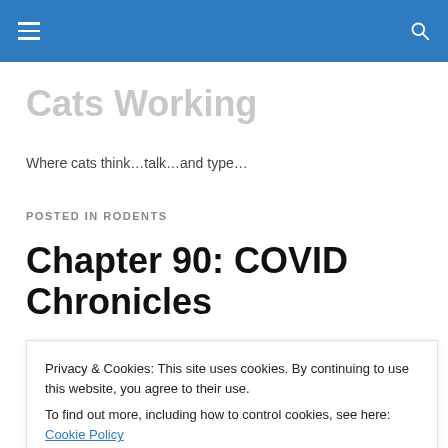Cats Working — navigation header bar
Cats Working
Where cats think…talk…and type…
POSTED IN RODENTS
Chapter 90: COVID Chronicles
By Karen
Privacy & Cookies: This site uses cookies. By continuing to use this website, you agree to their use.
To find out more, including how to control cookies, see here: Cookie Policy
Close and accept